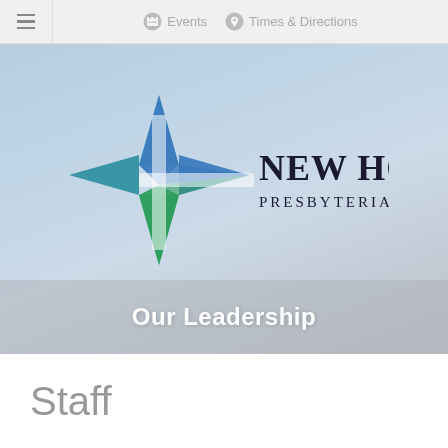≡   Events   Times & Directions
[Figure (logo): New Hope Presbyterian Church logo with a star/cross shape in blue and green colors, with text 'NEW HOPE PRESBYTERIAN CHURCH']
Our Leadership
Staff